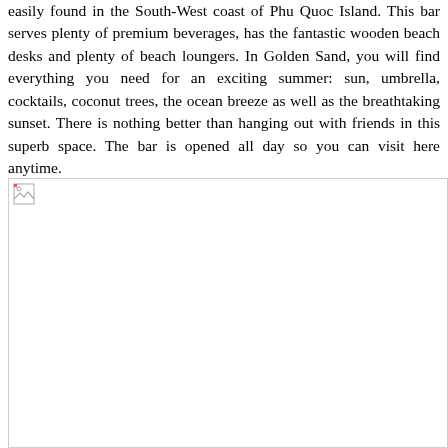easily found in the South-West coast of Phu Quoc Island. This bar serves plenty of premium beverages, has the fantastic wooden beach desks and plenty of beach loungers. In Golden Sand, you will find everything you need for an exciting summer: sun, umbrella, cocktails, coconut trees, the ocean breeze as well as the breathtaking sunset. There is nothing better than hanging out with friends in this superb space. The bar is opened all day so you can visit here anytime.
[Figure (photo): A photo placeholder (broken image icon) representing a beach bar scene at Golden Sand on Phu Quoc Island.]